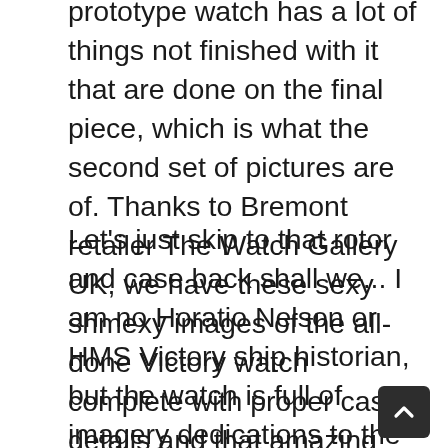prototype watch has a lot of things not finished with it that are done on the final piece, which is what the second set of pictures are of. Thanks to Bremont retailer The Watch Gallery UK, we have these sexy shmexy images of the all-done Victory watch complete with proper case details and that amazing case back and rotor.
Let's just skip to that rotor and case back shall we... I am no Horatio Nelson or HMS Victory ship historian, but the watch is full of imagery dedications to the two. As you'll recall from my first piece debuting the Bremont HMS Victory watch last year here, I mentioned how the timepiece had wood from the actual ship as well as metal from actual nails taken from the ship. You can see all of that on the back of the watch. There is the wood ring about the exhibition case back window and metal from the historic war ships' nails in, I believe, the rotor, case middle barrel, or perhaps both.